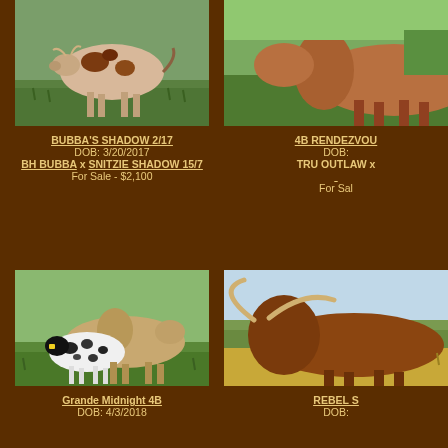[Figure (photo): Texas Longhorn cow in green grassy field, brown and white spotted, top-left card]
BUBBA'S SHADOW 2/17
DOB: 3/20/2017
BH BUBBA x SNITZIE SHADOW 15/7
For Sale - $2,100
[Figure (photo): Texas Longhorn cattle partially visible in green field, top-right card, image cropped]
4B RENDEZVOU...
DOB:
TRU OUTLAW x ...
For Sale...
[Figure (photo): White calf with black spots nursing from a cow in green field, bottom-left card]
Grande Midnight 4B
DOB: 4/3/2018
[Figure (photo): Texas Longhorn with large horns in field, bottom-right card, partially cropped]
REBEL S...
DOB: